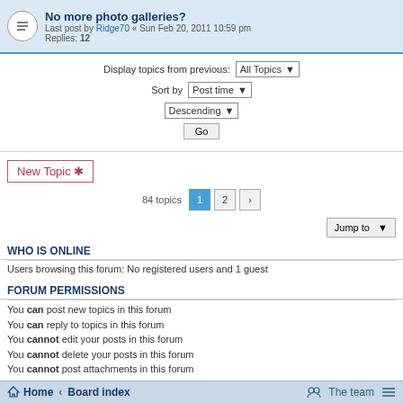No more photo galleries? Last post by Ridge70 « Sun Feb 20, 2011 10:59 pm Replies: 12
Display topics from previous: All Topics ▼
Sort by Post time ▼
Descending ▼
Go
New Topic ✱
84 topics  1  2  ›
Jump to
WHO IS ONLINE
Users browsing this forum: No registered users and 1 guest
FORUM PERMISSIONS
You can post new topics in this forum
You can reply to topics in this forum
You cannot edit your posts in this forum
You cannot delete your posts in this forum
You cannot post attachments in this forum
Home • Board index   The team  ≡
Powered by phpBB® Forum Software © phpBB Limited